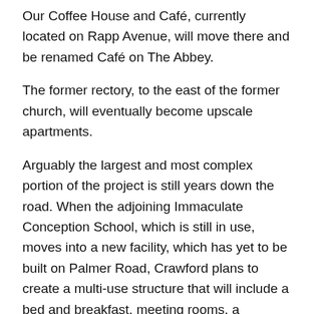Our Coffee House and Café, currently located on Rapp Avenue, will move there and be renamed Café on The Abbey.
The former rectory, to the east of the former church, will eventually become upscale apartments.
Arguably the largest and most complex portion of the project is still years down the road. When the adjoining Immaculate Conception School, which is still in use, moves into a new facility, which has yet to be built on Palmer Road, Crawford plans to create a multi-use structure that will include a bed and breakfast, meeting rooms, a microbrewery and a garden restaurant.
Crawford plans for the entire site to be heavy with trees, shrubs, foliage, flowers and grass, with decorative fencing replacing the utilitarian chain-link fence currently in use.